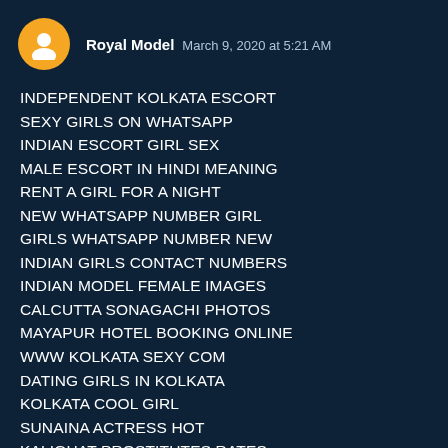Royal Model  March 9, 2020 at 5:21 AM
INDEPENDENT KOLKATA ESCORT
SEXY GIRLS ON WHATSAPP
INDIAN ESCORT GIRL SEX
MALE ESCORT IN HINDI MEANING
RENT A GIRL FOR A NIGHT
NEW WHATSAPP NUMBER GIRL
GIRLS WHATSAPP NUMBER NEW
INDIAN GIRLS CONTACT NUMBERS
INDIAN MODEL FEMALE IMAGES
CALCUTTA SONAGACHI PHOTOS
MAYAPUR HOTEL BOOKING ONLINE
WWW KOLKATA SEXY COM
DATING GIRLS IN KOLKATA
KOLKATA COOL GIRL
SUNAINA ACTRESS HOT
KALIGHAT PROSTITUTES RATES
ARYA REGENCY KOLKATA
INDIAN CALL GIRL NAME AND PHOTO
CALL GIRL IMAGES AND MOBILE NUMBER